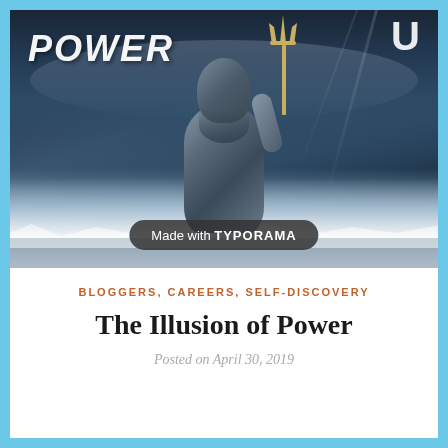[Figure (photo): A Poseidon/Neptune-like statue figure rising from stormy ocean waves, holding a trident, with dramatic cloudy sky. Text overlay says 'POWER' in bold white italic letters top-left, a U-shape top-right, and 'Made with TYPORAMA' badge at the bottom center.]
BLOGGERS, CAREERS, SELF-DISCOVERY
The Illusion of Power
Posted on April 30, 2019